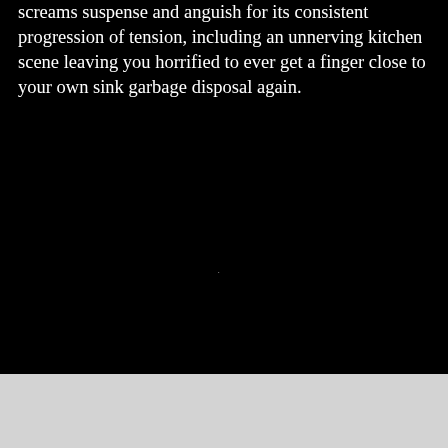screams suspense and anguish for its consistent progression of tension, including an unnerving kitchen scene leaving you horrified to ever get a finger close to your own sink garbage disposal again.
At The End Of The Spectra (2006)